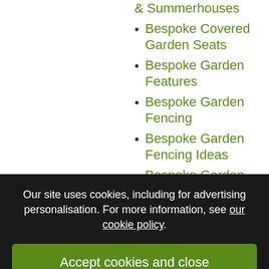& Summerhouses
Bespoke Covered Garden Seats
Bespoke Garden Features
Bespoke Garden Fencing
Bespoke Garden Fencing Ideas
Bespoke Garden Gazebos
Our site uses cookies, including for advertising personalisation. For more information, see our cookie policy.
Accept cookies and close
Reject cookies
Manage settings
Bespoke Garden Rooms – supplied +
Bespoke Garden Trellis Screening